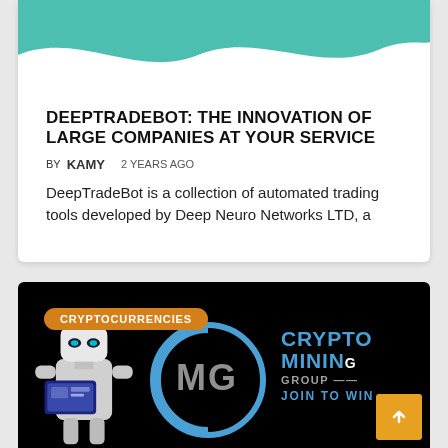[Figure (illustration): Teal and white wave graphic header at top of article card]
DEEPTRADEBOT: THE INNOVATION OF LARGE COMPANIES AT YOUR SERVICE
BY KAMY   2 YEARS AGO
DeepTradeBot is a collection of automated trading tools developed by Deep Neuro Networks LTD, a
[Figure (illustration): Black banner with robot illustration on left, CMG circular logo in center, CRYPTO MINING GROUP - JOIN TO WIN text on right in blue, CRYPTOCURRENCIES orange badge top left, orange scroll-to-top button bottom right]